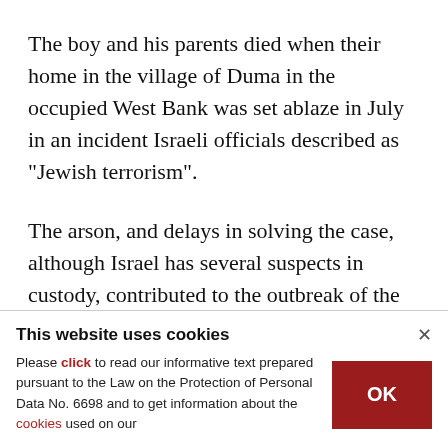The boy and his parents died when their home in the village of Duma in the occupied West Bank was set ablaze in July in an incident Israeli officials described as "Jewish terrorism".
The arson, and delays in solving the case, although Israel has several suspects in custody, contributed to the outbreak of the worst Palestinian street violence in years.
This website uses cookies
Please click to read our informative text prepared pursuant to the Law on the Protection of Personal Data No. 6698 and to get information about the cookies used on our